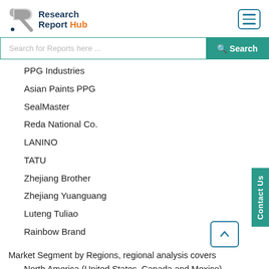Research Report Hub
PPG Industries
Asian Paints PPG
SealMaster
Reda National Co.
LANINO
TATU
Zhejiang Brother
Zhejiang Yuanguang
Luteng Tuliao
Rainbow Brand
Market Segment by Regions, regional analysis covers
North America (United States, Canada and Mexico)
Europe (Germany, France, UK, Russia and Italy)
Asia-Pacific (China, Japan, Korea, India and Southeast